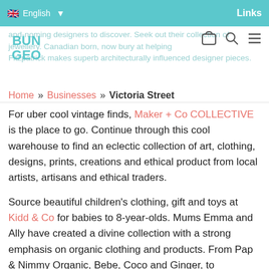English | Links
[Figure (logo): BUN GEO logo in teal color]
and-noming designers to discover. Seek out their collection of jewellery. Canadian born, nowbury at helping Fitzpatrick makes superb architecturally influenced designer pieces.
Home » Businesses » Victoria Street
For uber cool vintage finds, Maker + Co COLLECTIVE is the place to go. Continue through this cool warehouse to find an eclectic collection of art, clothing, designs, prints, creations and ethical product from local artists, artisans and ethical traders.
Source beautiful children's clothing, gift and toys at Kidd & Co for babies to 8-year-olds. Mums Emma and Ally have created a divine collection with a strong emphasis on organic clothing and products. From Pap & Nimmy Organic, Bebe, Coco and Ginger, to Melbourne-based brand Designer Kidz, you'll be ooohing over the super-cute product.